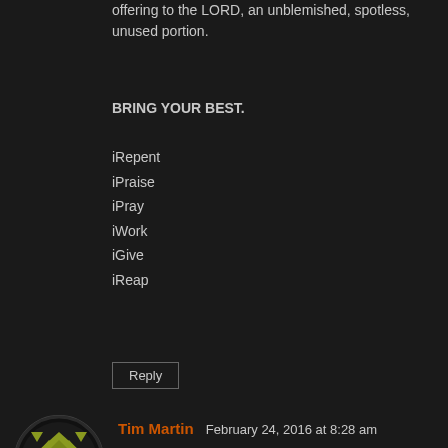offering to the LORD, an unblemished, spotless, unused portion.
BRING YOUR BEST.
iRepent
iPraise
iPray
iWork
iGive
iReap
Reply
Tim Martin   February 24, 2016 at 8:28 am
Whosoever toucheth the dead body of any man that is dead, and purifieth not himself, defileth the tabernacle of the Lord; and that soul shall be cut off from Israel: because the water of separation was not